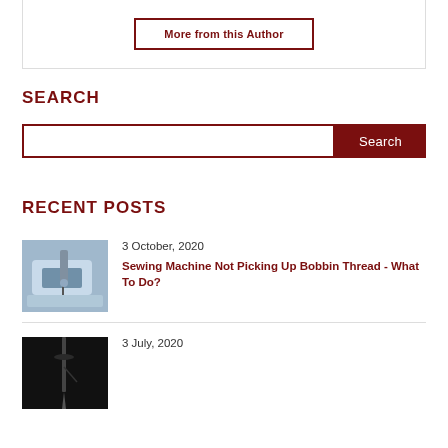More from this Author
SEARCH
Search
RECENT POSTS
3 October, 2020
Sewing Machine Not Picking Up Bobbin Thread - What To Do?
[Figure (photo): Close-up photo of a sewing machine]
3 July, 2020
[Figure (photo): Close-up photo of a needle on dark background]